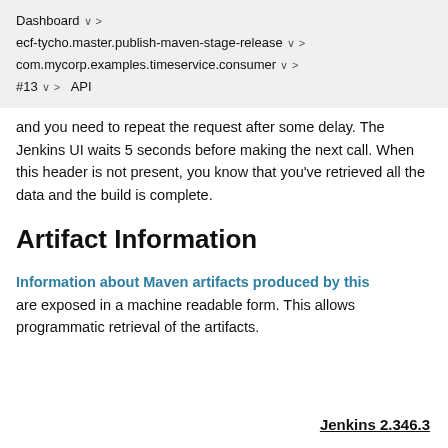Dashboard  ∨  >  ecf-tycho.master.publish-maven-stage-release  ∨  >  com.mycorp.examples.timeservice.consumer  ∨  >  #13  ∨  >  API
and you need to repeat the request after some delay. The Jenkins UI waits 5 seconds before making the next call. When this header is not present, you know that you've retrieved all the data and the build is complete.
Artifact Information
Information about Maven artifacts produced by this are exposed in a machine readable form. This allows programmatic retrieval of the artifacts.
Jenkins 2.346.3